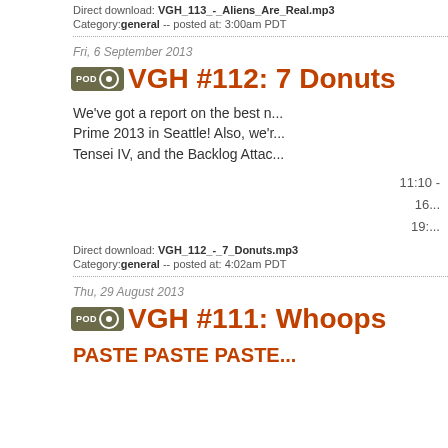Direct download: VGH_113_-_Aliens_Are_Real.mp3
Category: general -- posted at: 3:00am PDT
Fri, 6 September 2013
VGH #112: 7 Donuts
We've got a report on the best n... Prime 2013 in Seattle! Also, we'r... Tensei IV, and the Backlog Attac...
11:10 -
16...
19:...
Direct download: VGH_112_-_7_Donuts.mp3
Category: general -- posted at: 4:02am PDT
Thu, 29 August 2013
VGH #111: Whoops